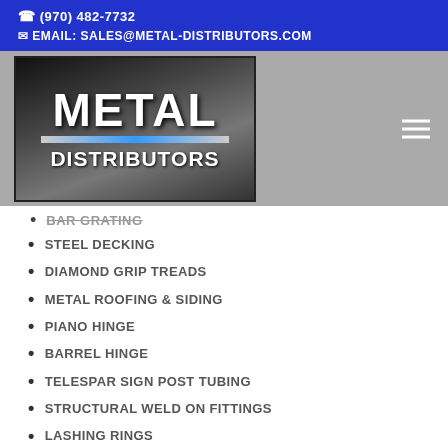(970) 482-7732
EMAIL: SALES@METAL-DISTRIBUTORS.COM
[Figure (logo): Metal Distributors company logo with bold 'METAL' text and 'Distributors' below, on a dark metallic background with a blue stripe]
BAR GRATING
STEEL DECKING
DIAMOND GRIP TREADS
METAL ROOFING & SIDING
PIANO HINGE
BARREL HINGE
TELESPAR SIGN POST TUBING
STRUCTURAL WELD ON FITTINGS
LASHING RINGS
CASTERS
WELDING SUPPLIES
METAL FINISHES PLUS PATINA PRODUCTS